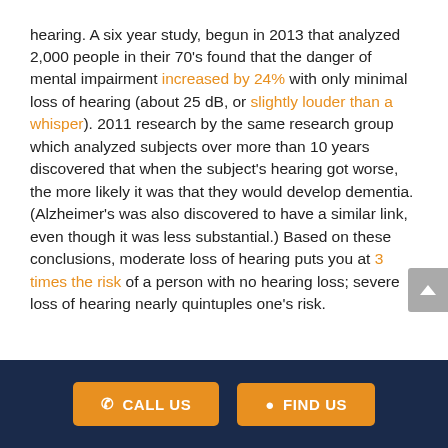hearing. A six year study, begun in 2013 that analyzed 2,000 people in their 70's found that the danger of mental impairment increased by 24% with only minimal loss of hearing (about 25 dB, or slightly louder than a whisper). 2011 research by the same research group which analyzed subjects over more than 10 years discovered that when the subject's hearing got worse, the more likely it was that they would develop dementia. (Alzheimer's was also discovered to have a similar link, even though it was less substantial.) Based on these conclusions, moderate loss of hearing puts you at 3 times the risk of a person with no hearing loss; severe loss of hearing nearly quintuples one's risk.
CALL US   FIND US